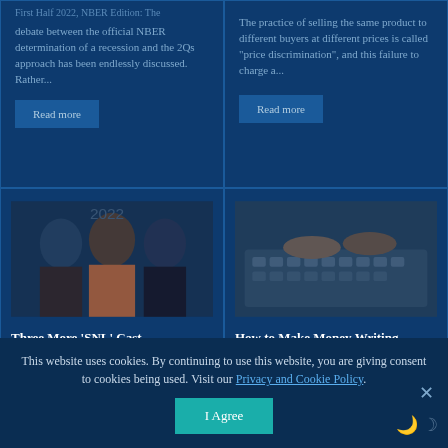First Half 2022, NBER Edition: The debate between the official NBER determination of a recession and the 2Qs approach has been endlessly discussed. Rather...
Read more
The practice of selling the same product to different buyers at different prices is called “price discrimination”, and this failure to charge a...
Read more
[Figure (photo): Three people (two men and one woman) posing together, possibly cast members]
Three More ‘SNL’ Cast Members Are Leaving the Show
[Figure (photo): Hands typing on a laptop keyboard]
How to Make Money Writing Online
This website uses cookies. By continuing to use this website, you are giving consent to cookies being used. Visit our Privacy and Cookie Policy.
I Agree